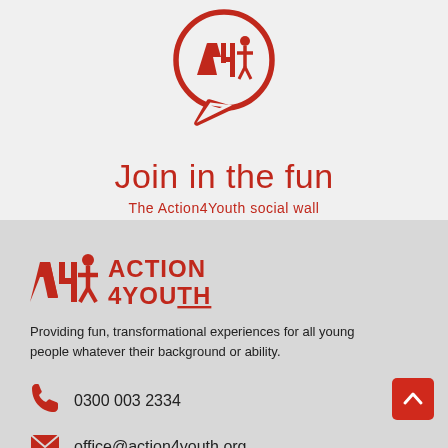[Figure (logo): Action4Youth speech bubble logo in red — circular speech bubble with 'AY' stylized figure inside]
Join in the fun
The Action4Youth social wall
[Figure (logo): Action4Youth full logo with figure icon and ACTION 4YOUTH text in red]
Providing fun, transformational experiences for all young people whatever their background or ability.
0300 003 2334
office@action4youth.org